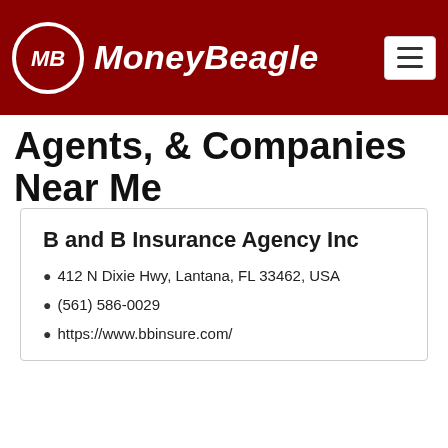MoneyBeagle
Agents, & Companies Near Me
B and B Insurance Agency Inc
📍 412 N Dixie Hwy, Lantana, FL 33462, USA
📞 (561) 586-0029
🌐 https://www.bbinsure.com/
Compare Cheap Car Insurance Quotes Now
Enter Zip
Get Rates >